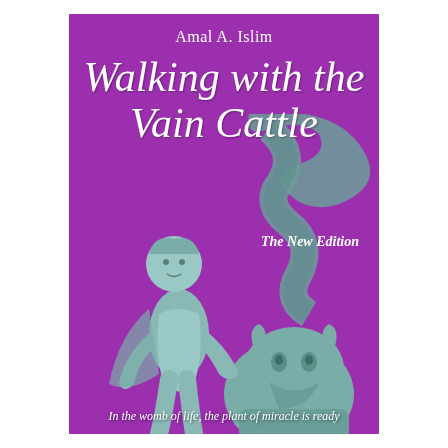[Figure (illustration): Book cover with purple background featuring a sculpture of a cherub/youth figure wrestling with a dragon/beast creature. The cover shows the book title in large italic white script font, author name at top, subtitle 'The New Edition', and a tagline at the bottom.]
Amal A. Islim
Walking with the Vain Cattle
The New Edition
In the womb of life, the plant of miracle is ready